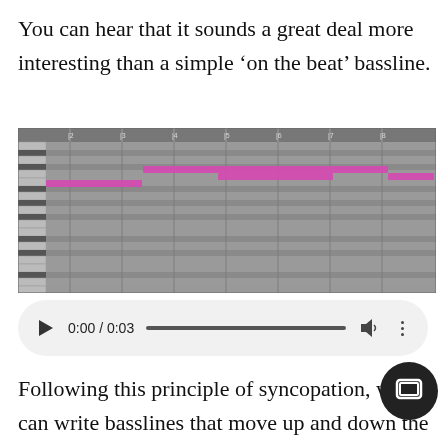You can hear that it sounds a great deal more interesting than a simple ‘on the beat’ bassline.
[Figure (screenshot): DAW piano roll screenshot showing syncopated bassline MIDI notes as pink/magenta horizontal bars offset from the beat grid, on a dark gray background with measure markers at the top.]
[Figure (screenshot): Audio player UI element showing play button, time display '0:00 / 0:03', a progress bar, volume icon, and options menu dots, on a light gray rounded-rectangle background.]
Following this principle of syncopation, we can write basslines that move up and down the scale a place rhythmic emphasis on the offbeat. If yo ed a variety of bassline writing tips, check out our